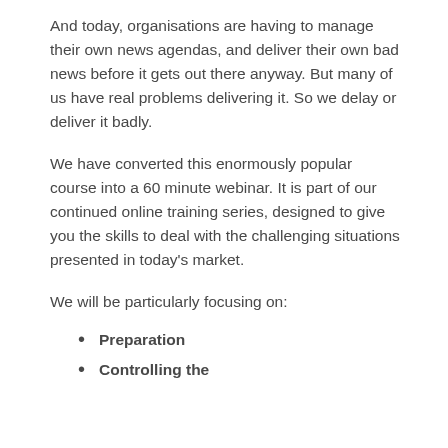And today, organisations are having to manage their own news agendas, and deliver their own bad news before it gets out there anyway. But many of us have real problems delivering it. So we delay or deliver it badly.
We have converted this enormously popular course into a 60 minute webinar. It is part of our continued online training series, designed to give you the skills to deal with the challenging situations presented in today's market.
We will be particularly focusing on:
Preparation
Controlling the